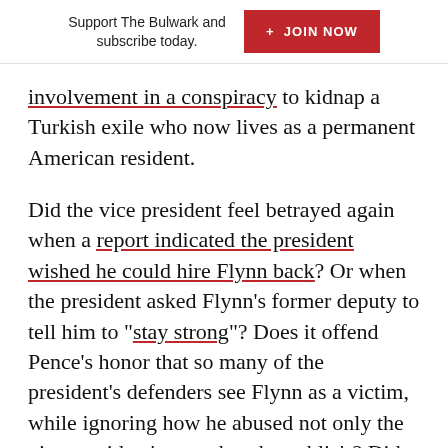Support The Bulwark and subscribe today. + JOIN NOW
involvement in a conspiracy to kidnap a Turkish exile who now lives as a permanent American resident.
Did the vice president feel betrayed again when a report indicated the president wished he could hire Flynn back? Or when the president asked Flynn’s former deputy to tell him to “stay strong”? Does it offend Pence’s honor that so many of the president’s defenders see Flynn as a victim, while ignoring how he abused not only the vice president’s trust, but the public’s? Did the president even apologize for the shabby way Pence